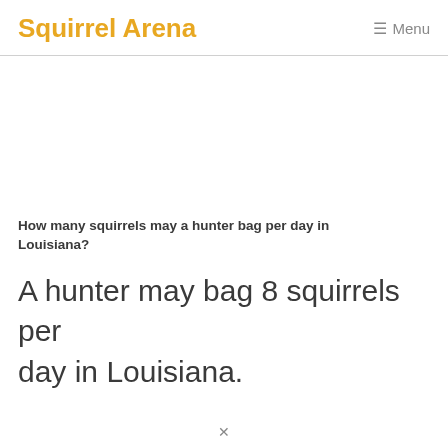Squirrel Arena  ☰ Menu
How many squirrels may a hunter bag per day in Louisiana?
A hunter may bag 8 squirrels per day in Louisiana.